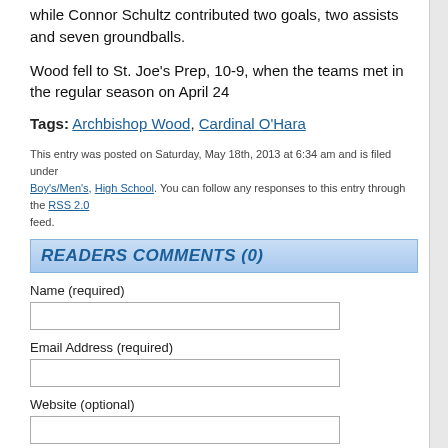while Connor Schultz contributed two goals, two assists and seven groundballs.
Wood fell to St. Joe's Prep, 10-9, when the teams met in the regular season on April 24
Tags: Archbishop Wood, Cardinal O'Hara
This entry was posted on Saturday, May 18th, 2013 at 6:34 am and is filed under Boy's/Men's, High School. You can follow any responses to this entry through the RSS 2.0 feed.
READERS COMMENTS (0)
Name (required)
Email Address (required)
Website (optional)